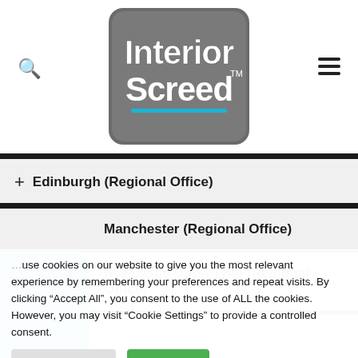[Figure (logo): Interior Screed logo — grey rounded rectangle with 'Interior Screed TM' text and cyan underline]
+ Edinburgh (Regional Office)
Manchester (Regional Office)
Newcastle Upon Tyne (Regional Office)
Quick Quote
use cookies on our website to give you the most relevant experience by remembering your preferences and repeat visits. By clicking "Accept All", you consent to the use of ALL the cookies. However, you may visit "Cookie Settings" to provide a controlled consent.
Cookie Settings
Accept All